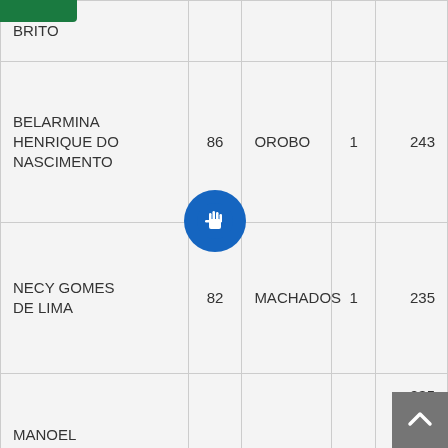| Nome | Idade | Bairro | Col4 | Col5 |
| --- | --- | --- | --- | --- |
| BRITO |  |  |  |  |
| BELARMINA HENRIQUE DO NASCIMENTO | 86 | OROBO | 1 | 243 |
| NECY GOMES DE LIMA | 82 | MACHADOS | 1 | 235 |
| MANOEL SEVERINO DA SILVA | 80 | MACHADOS | 1 | 235 |